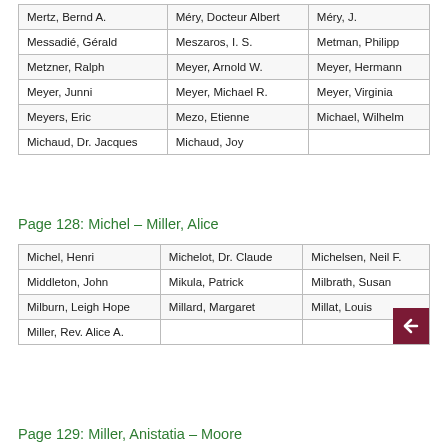|  |  |  |
| --- | --- | --- |
| Mertz, Bernd A. | Méry, Docteur Albert | Méry, J. |
| Messadié, Gérald | Meszaros, I. S. | Metman, Philipp |
| Metzner, Ralph | Meyer, Arnold W. | Meyer, Hermann |
| Meyer, Junni | Meyer, Michael R. | Meyer, Virginia |
| Meyers, Eric | Mezo, Etienne | Michael, Wilhelm |
| Michaud, Dr. Jacques | Michaud, Joy |  |
Page 128: Michel – Miller, Alice
|  |  |  |
| --- | --- | --- |
| Michel, Henri | Michelot, Dr. Claude | Michelsen, Neil F. |
| Middleton, John | Mikula, Patrick | Milbrath, Susan |
| Milburn, Leigh Hope | Millard, Margaret | Millat, Louis |
| Miller, Rev. Alice A. |  |  |
Page 129: Miller, Anistatia – Moore